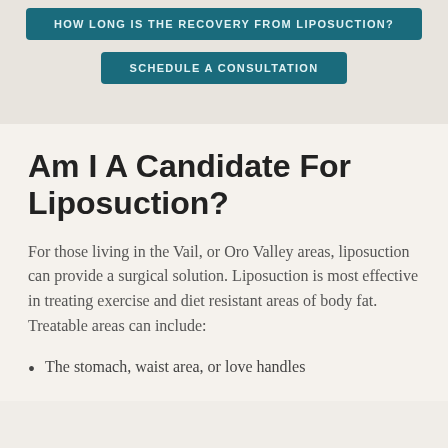HOW LONG IS THE RECOVERY FROM LIPOSUCTION?
SCHEDULE A CONSULTATION
Am I A Candidate For Liposuction?
For those living in the Vail, or Oro Valley areas, liposuction can provide a surgical solution. Liposuction is most effective in treating exercise and diet resistant areas of body fat. Treatable areas can include:
The stomach, waist area, or love handles